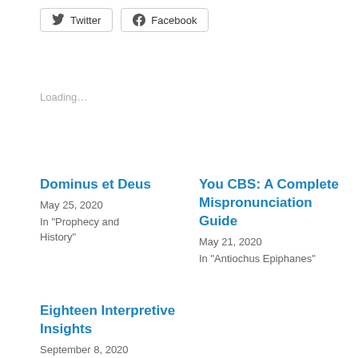[Figure (other): Twitter share button]
[Figure (other): Facebook share button]
Loading...
Dominus et Deus
May 25, 2020
In "Prophecy and History"
You CBS: A Complete Mispronunciation Guide
May 21, 2020
In "Antiochus Epiphanes"
Eighteen Interpretive Insights
September 8, 2020
In "Eschatology"